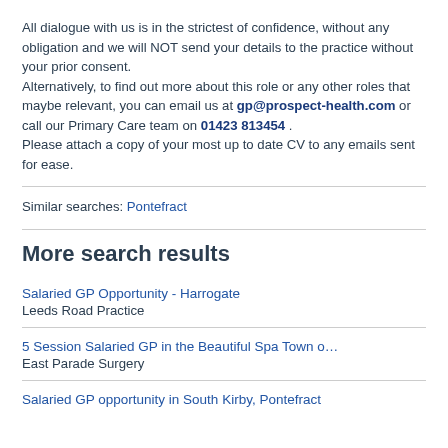All dialogue with us is in the strictest of confidence, without any obligation and we will NOT send your details to the practice without your prior consent. Alternatively, to find out more about this role or any other roles that maybe relevant, you can email us at gp@prospect-health.com or call our Primary Care team on 01423 813454 . Please attach a copy of your most up to date CV to any emails sent for ease.
Similar searches: Pontefract
More search results
Salaried GP Opportunity - Harrogate
Leeds Road Practice
5 Session Salaried GP in the Beautiful Spa Town o…
East Parade Surgery
Salaried GP opportunity in South Kirby, Pontefract